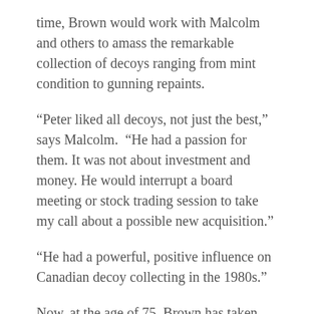time, Brown would work with Malcolm and others to amass the remarkable collection of decoys ranging from mint condition to gunning repaints.
“Peter liked all decoys, not just the best,” says Malcolm.  “He had a passion for them. It was not about investment and money. He would interrupt a board meeting or stock trading session to take my call about a possible new acquisition.”
“He had a powerful, positive influence on Canadian decoy collecting in the 1980s.”
Now, at the age of 75, Brown has taken the